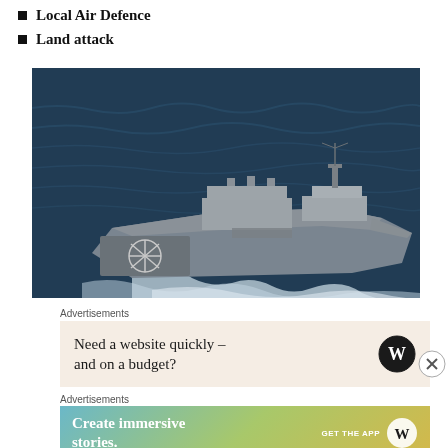Local Air Defence
Land attack
[Figure (photo): Aerial view of a naval warship (frigate/destroyer) sailing through dark blue ocean water, leaving a white wake. The ship has a grey stealth hull design with a helicopter landing pad at the stern marked with a circular symbol.]
Advertisements
[Figure (other): Advertisement banner: Need a website quickly – and on a budget? With WordPress logo.]
Advertisements
[Figure (other): Advertisement banner: Create immersive stories. GET THE APP with WordPress logo on gradient background.]